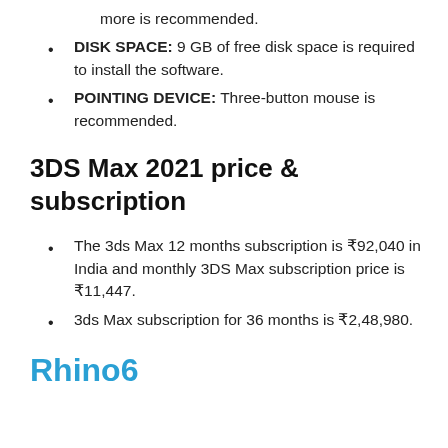more is recommended.
DISK SPACE: 9 GB of free disk space is required to install the software.
POINTING DEVICE: Three-button mouse is recommended.
3DS Max 2021 price & subscription
The 3ds Max 12 months subscription is ₹92,040 in India and monthly 3DS Max subscription price is ₹11,447.
3ds Max subscription for 36 months is ₹2,48,980.
Rhino6